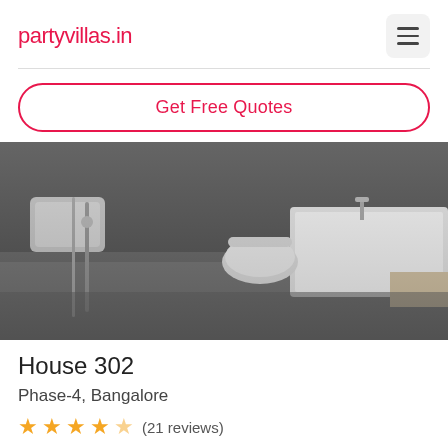partyvillas.in
Get Free Quotes
[Figure (photo): Bathroom interior with wall-hung toilet, bathtub, sink, and shower head against dark stone walls]
House 302
Phase-4, Bangalore
★★★★☆ (21 reviews)